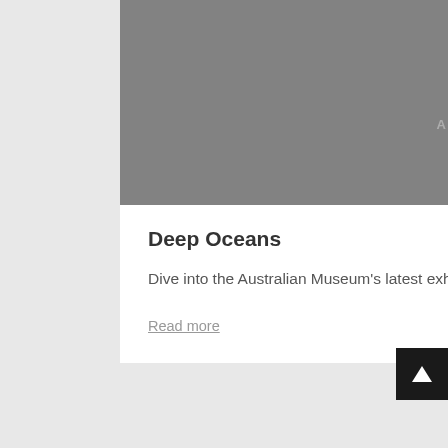[Figure (logo): Australian Museum logo with decorative arrow/chevron symbols and text 'AUSTRALIAN MUSEUM' on grey background]
Deep Oceans
Dive into the Australian Museum's latest exhibition - Deep Oceans - from 16 June 2012.
Read more